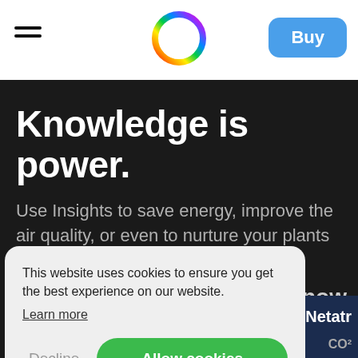[Figure (logo): Colorful circular gradient ring logo (Netatmo / app logo) centered in white navigation bar]
[Figure (other): Hamburger menu icon (two horizontal lines) on the left of the navigation bar]
[Figure (other): Blue 'Buy' button on the right of the navigation bar]
Knowledge is power.
Use Insights to save energy, improve the air quality, or even to nurture your plants better.
ou'll know
This website uses cookies to ensure you get the best experience on our website.
Learn more
Decline
Allow cookies
Netatr